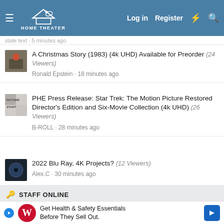HOME THEATER — Log in | Register
cropped partial item above
A Christmas Story (1983) (4k UHD) Available for Preorder (24 Viewers)
Ronald Epstein · 18 minutes ago
PHE Press Release: Star Trek: The Motion Picture Restored Director's Edition and Six-Movie Collection (4k UHD) (26 Viewers)
B-ROLL · 28 minutes ago
2022 Blu Ray, 4K Projects? (12 Viewers)
Alex.C · 30 minutes ago
STAFF ONLINE
Ronald Epstein
Founder
[Figure (screenshot): Walgreens advertisement: Get Health & Safety Essentials Before They Sell Out.]